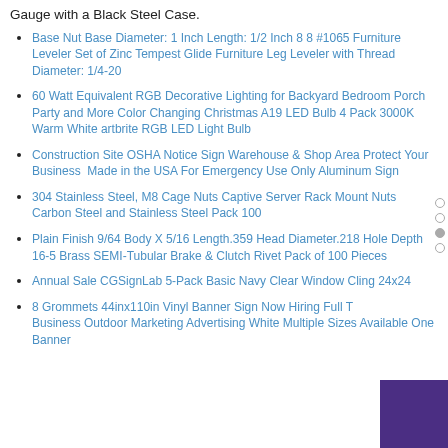Gauge with a Black Steel Case.
Base Nut Base Diameter: 1 Inch Length: 1/2 Inch 8 8 #1065 Furniture Leveler Set of Zinc Tempest Glide Furniture Leg Leveler with Thread Diameter: 1/4-20
60 Watt Equivalent RGB Decorative Lighting for Backyard Bedroom Porch Party and More Color Changing Christmas A19 LED Bulb 4 Pack 3000K Warm White artbrite RGB LED Light Bulb
Construction Site OSHA Notice Sign Warehouse & Shop Area Protect Your Business  Made in the USA For Emergency Use Only Aluminum Sign
304 Stainless Steel, M8 Cage Nuts Captive Server Rack Mount Nuts Carbon Steel and Stainless Steel Pack 100
Plain Finish 9/64 Body X 5/16 Length.359 Head Diameter.218 Hole Depth 16-5 Brass SEMI-Tubular Brake & Clutch Rivet Pack of 100 Pieces
Annual Sale CGSignLab 5-Pack Basic Navy Clear Window Cling 24x24
8 Grommets 44inx110in Vinyl Banner Sign Now Hiring Full Time Business Outdoor Marketing Advertising White Multiple Sizes Available One Banner